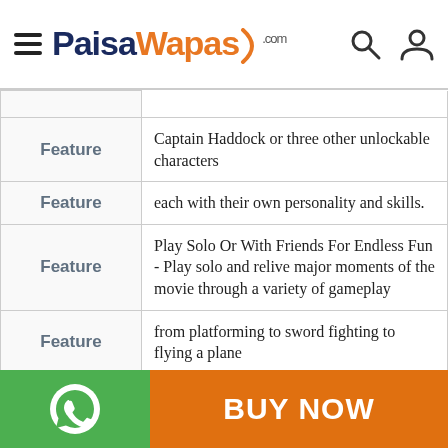PaisaWapas.com
| Feature | Description |
| --- | --- |
| Feature | Captain Haddock or three other unlockable characters |
| Feature | each with their own personality and skills. |
| Feature | Play Solo Or With Friends For Endless Fun - Play solo and relive major moments of the movie through a variety of gameplay |
| Feature | from platforming to sword fighting to flying a plane |
| Feature | or share the fun in 2-player co-op mode. |
| Feature | Huge Gameplay Variety Offering Something For Everyone - Pilot a plane through a rumbling tempest |
BUY NOW